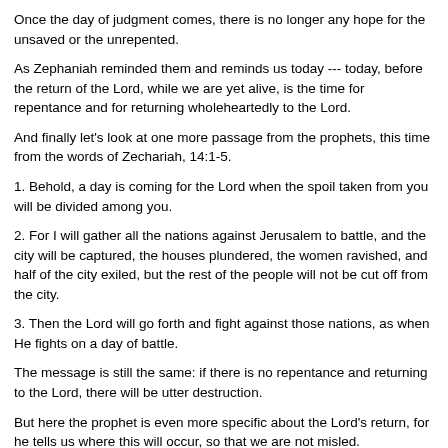Once the day of judgment comes, there is no longer any hope for the unsaved or the unrepented.
As Zephaniah reminded them and reminds us today --- today, before the return of the Lord, while we are yet alive, is the time for repentance and for returning wholeheartedly to the Lord.
And finally let's look at one more passage from the prophets, this time from the words of Zechariah, 14:1-5.
1. Behold, a day is coming for the Lord when the spoil taken from you will be divided among you.
2. For I will gather all the nations against Jerusalem to battle, and the city will be captured, the houses plundered, the women ravished, and half of the city exiled, but the rest of the people will not be cut off from the city.
3. Then the Lord will go forth and fight against those nations, as when He fights on a day of battle.
The message is still the same: if there is no repentance and returning to the Lord, there will be utter destruction.
But here the prophet is even more specific about the Lord's return, for he tells us where this will occur, so that we are not misled.
4. And in that day His feet will stand on the Mount of Olives, which is in front of Jerusalem on the east; and the Mount of Olives will be split in its middle from east to west by a very large valley, so that half of the mountain will move toward the north and the other half toward the south.
5. And you will flee by the valley of My mountains, for the valley of the mountains will reach to Azel; yes, you will flee just as you fled before the